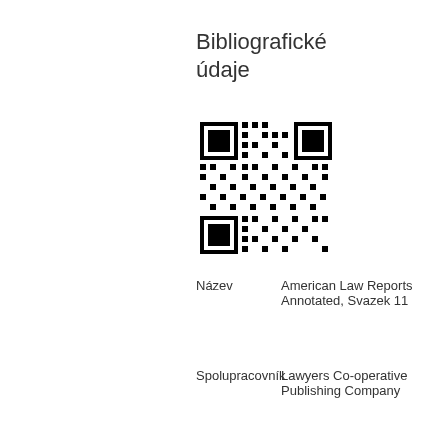Bibliografické údaje
[Figure (other): QR code image]
Název	American Law Reports Annotated, Svazek 11
Spolupracovník	Lawyers Co-operative Publishing Company